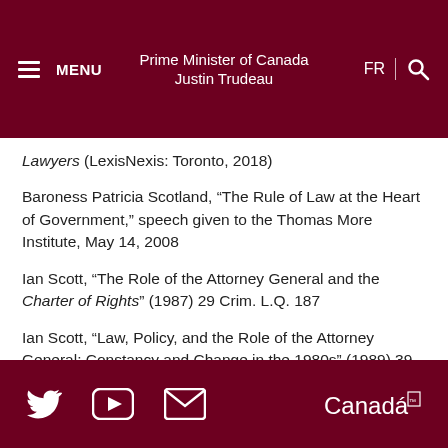Prime Minister of Canada Justin Trudeau
Lawyers (LexisNexis: Toronto, 2018)
Baroness Patricia Scotland, “The Rule of Law at the Heart of Government,” speech given to the Thomas More Institute, May 14, 2008
Ian Scott, “The Role of the Attorney General and the Charter of Rights” (1987) 29 Crim. L.Q. 187
Ian Scott, “Law, Policy, and the Role of the Attorney General: Constancy and Change in the 1980s” (1989) 39 U.T.L.J. 109
Lorne Sossin and Valerie Crystal, "A Comment on "No Comment": The Sub Judice Rule and the
Twitter YouTube Email Canada